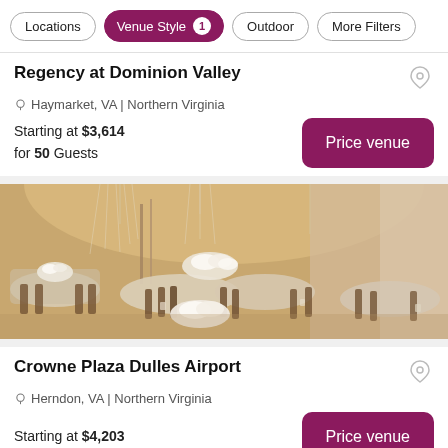Locations | Venue Style 1 | Outdoor | More Filters
Regency at Dominion Valley
Haymarket, VA | Northern Virginia
Starting at $3,614
for 50 Guests
[Figure (photo): Elegant wedding reception venue interior with round tables set with white floral centerpieces, crystal chandeliers, chiavari chairs, and draped fabric walls]
Crowne Plaza Dulles Airport
Herndon, VA | Northern Virginia
Starting at $4,203